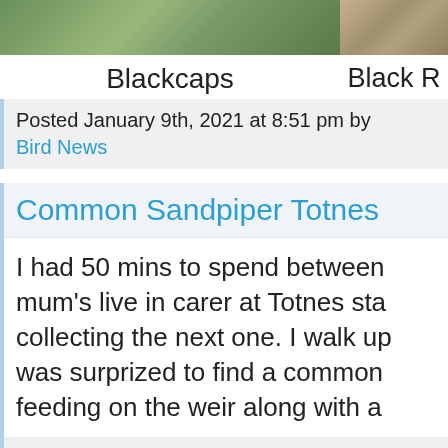[Figure (photo): Partial photo of Blackcaps bird, green foliage background]
Blackcaps
[Figure (photo): Partial photo of Black R... bird, brown/tan background]
Black R...
Posted January 9th, 2021 at 8:51 pm by
Bird News
Common Sandpiper Totnes
I had 50 mins to spend between mum's live in carer at Totnes sta collecting the next one. I walk up was surprized to find a common feeding on the weir along with a
Posted January 9th, 2021 at 7:00 pm by